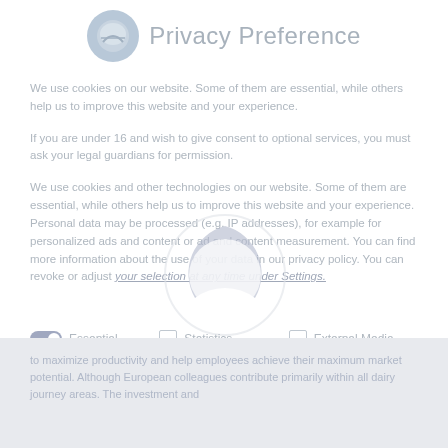Privacy Preference
We use cookies on our website. Some of them are essential, while others help us to improve this website and your experience.
If you are under 16 and wish to give consent to optional services, you must ask your legal guardians for permission.
We use cookies and other technologies on our website. Some of them are essential, while others help us to improve this website and your experience. Personal data may be processed (e.g. IP addresses), for example for personalized ads and content or ad and content measurement. You can find more information about the use of your data in our privacy policy. You can revoke or adjust your selection at any time under Settings.
Essential
Statistics
External Media
to maximize productivity and help employees achieve their maximum market potential. Although European colleagues contribute primarily within all dairy journey areas. The investment and